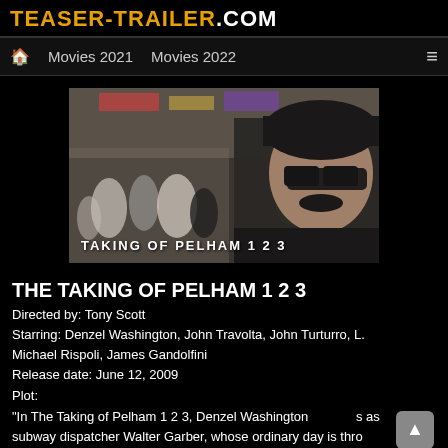TEASER-TRAILER.COM
🏠  Movies 2021    Movies 2022    ≡
[Figure (photo): Movie still from The Taking of Pelham 1 2 3 showing a man in a black beanie and sunglasses with a crowd in the background. Text overlay reads: TAKING OF PELHAM 1 2 3]
THE TAKING OF PELHAM 1 2 3
Directed by: Tony Scott
Starring: Denzel Washington, John Travolta, John Turturro, L. Michael Rispoli, James Gandolfini
Release date: June 12, 2009
Plot:
"In The Taking of Pelham 1 2 3, Denzel Washington stars as subway dispatcher Walter Garber, whose ordinary day is thro